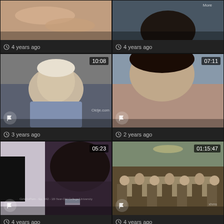[Figure (screenshot): Video thumbnail grid showing adult video site. Top row: two partially visible thumbnails (hands/skin tone, top of person's head). Row 2: older man sleeping/reclining with duration 10:08, and young man close-up with duration 07:11. Row 3: person with dark hair duration 05:23, group at dining table duration 01:15:47. Bottom row: two dark/blank thumbnails.]
4 years ago
3 years ago
2 years ago
4 years ago
4 years ago